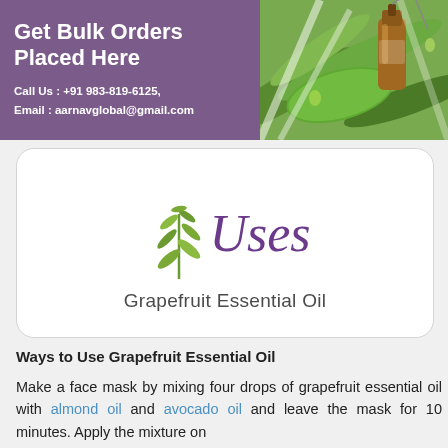[Figure (infographic): Banner with purple background on left showing bulk order contact information, and a photo of essential oil bottle with dropper on green leaves on the right.]
Get Bulk Orders Placed Here
Call Us : +91 983-819-6125, Email : aarnavglobal@gmail.com
[Figure (illustration): Decorative 'Uses' logo with green herb/rosemary sprig and purple italic script text reading 'Uses' on white background card with rounded corners.]
Grapefruit Essential Oil
Ways to Use Grapefruit Essential Oil
Make a face mask by mixing four drops of grapefruit essential oil with almond oil and avocado oil and leave the mask for 10 minutes. Apply the mixture on